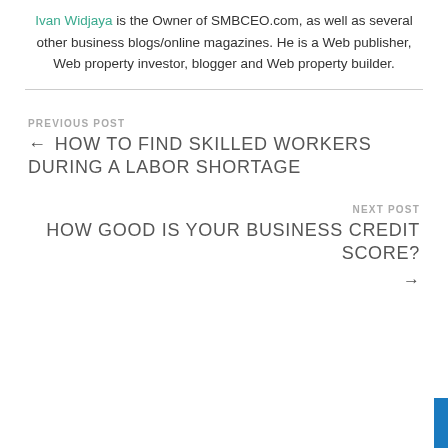Ivan Widjaya is the Owner of SMBCEO.com, as well as several other business blogs/online magazines. He is a Web publisher, Web property investor, blogger and Web property builder.
PREVIOUS POST
← HOW TO FIND SKILLED WORKERS DURING A LABOR SHORTAGE
NEXT POST
HOW GOOD IS YOUR BUSINESS CREDIT SCORE? →